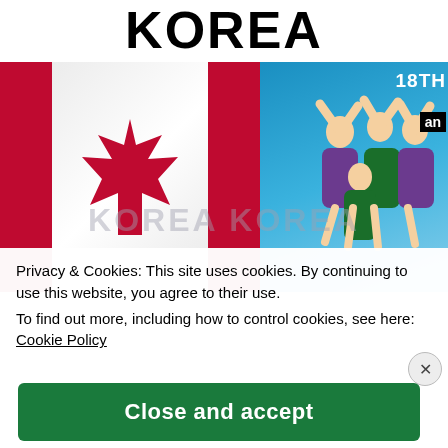KOREA
[Figure (photo): Composite image: Canadian flag on the left half, and a group of synchronized swimmers in colorful costumes performing against a blue background on the right half. Text overlay '18TH' and 'an' visible in top right corner.]
Privacy & Cookies: This site uses cookies. By continuing to use this website, you agree to their use.
To find out more, including how to control cookies, see here: Cookie Policy
Close and accept